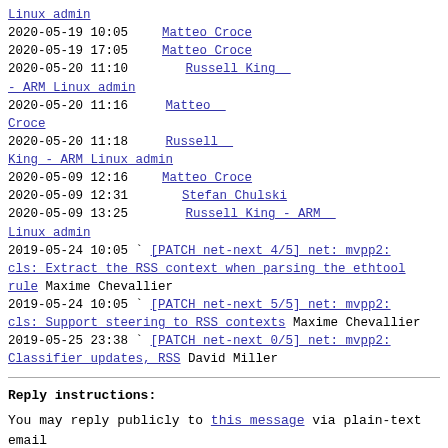Linux admin 2020-05-19 10:05 Matteo Croce
2020-05-19 17:05 Matteo Croce
2020-05-20 11:10 Russell King - ARM Linux admin
2020-05-20 11:16 Matteo Croce
2020-05-20 11:18 Russell King - ARM Linux admin
2020-05-09 12:16 Matteo Croce
2020-05-09 12:31 Stefan Chulski
2020-05-09 13:25 Russell King - ARM Linux admin
2019-05-24 10:05 [PATCH net-next 4/5] net: mvpp2: cls: Extract the RSS context when parsing the ethtool rule Maxime Chevallier
2019-05-24 10:05 [PATCH net-next 5/5] net: mvpp2: cls: Support steering to RSS contexts Maxime Chevallier
2019-05-25 23:38 [PATCH net-next 0/5] net: mvpp2: Classifier updates, RSS David Miller
Reply instructions:
You may reply publicly to this message via plain-text email
using any one of the following methods:
* Save the following mbox file, import it into your mail client,